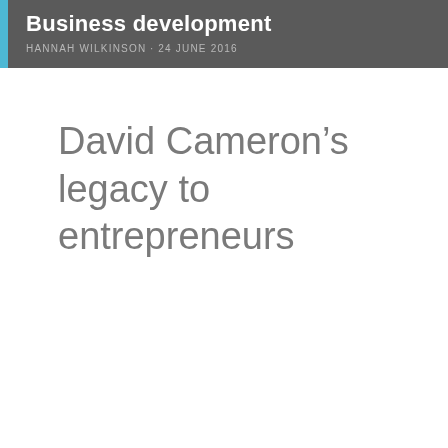Business development
HANNAH WILKINSON · 24 JUNE 2016
David Cameron's legacy to entrepreneurs